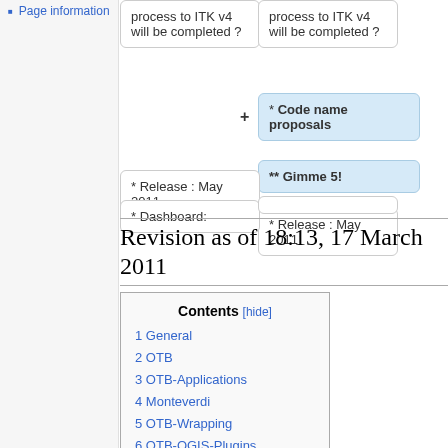Page information
[Figure (flowchart): Diagram with two columns of rounded-rectangle boxes. Top row: 'process to ITK v4 will be completed ?' (two copies, left and right columns). Middle row: highlighted blue box '* Code name proposals' with a + to its left (right column only). Below that: highlighted blue box '** Gimme 5!' with a + to its left (right column). Bottom rows: '* Release : May 2011' (left and right), '* Dashboard:' (left and right).]
Revision as of 18:13, 17 March 2011
| # | Section |
| --- | --- |
| 1 | General |
| 2 | OTB |
| 3 | OTB-Applications |
| 4 | Monteverdi |
| 5 | OTB-Wrapping |
| 6 | OTB-QGIS-Plugins |